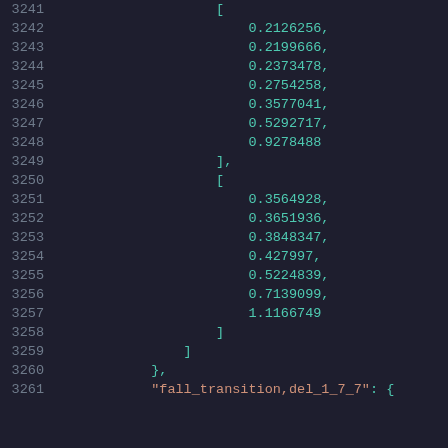Code listing lines 3241-3261 showing JSON array data with numeric values and a key 'fall_transition,del_1_7_7'